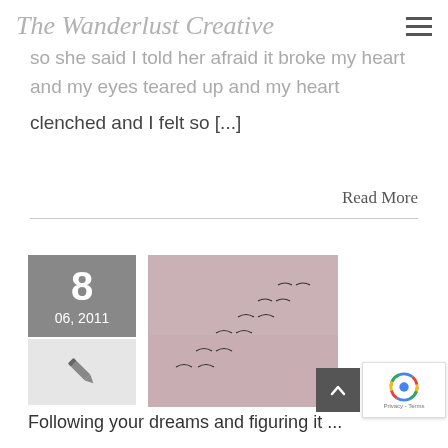The Wanderlust Creative
so she said I told her afraid it broke my heart and my eyes teared up and my heart clenched and I felt so [...]
Read More
[Figure (other): Gray date box showing '8' and '06, 2011']
[Figure (photo): Birds flying in formation against a pinkish-mauve sky]
[Figure (other): Pen/pencil icon on light gray background]
[Figure (other): Back to top button (dark gray with upward chevron)]
[Figure (other): reCAPTCHA badge with Google logo and Privacy - Terms text]
Following your dreams and figuring it ...